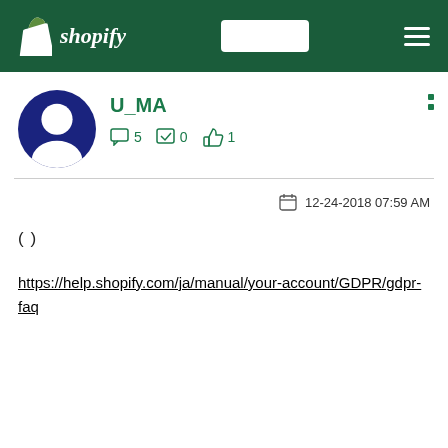[Figure (logo): Shopify header with logo, search box, and hamburger menu on dark green background]
U_MA
5   0   1
12-24-2018 07:59 AM
(                )
https://help.shopify.com/ja/manual/your-account/GDPR/gdpr-faq